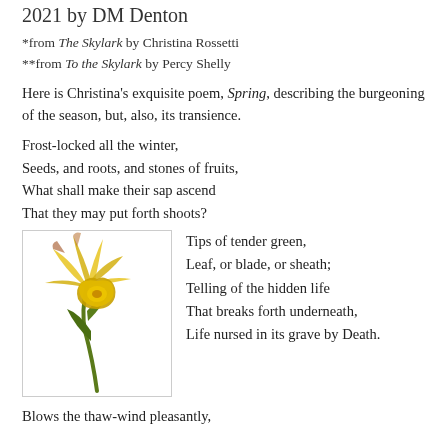2021 by DM Denton
*from The Skylark by Christina Rossetti
**from To the Skylark by Percy Shelly
Here is Christina's exquisite poem, Spring, describing the burgeoning of the season, but, also, its transience.
Frost-locked all the winter,
Seeds, and roots, and stones of fruits,
What shall make their sap ascend
That they may put forth shoots?
[Figure (illustration): Illustration of a drooping daffodil flower with yellow petals and green stem, shown against a white background with a thin border.]
Tips of tender green,
Leaf, or blade, or sheath;
Telling of the hidden life
That breaks forth underneath,
Life nursed in its grave by Death.
Blows the thaw-wind pleasantly,